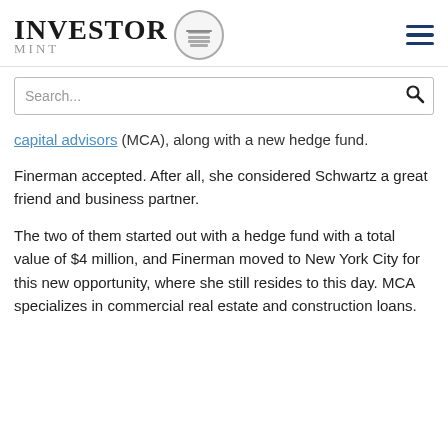[Figure (logo): Investor Mint logo with circular coin/building emblem and hamburger menu icon]
Search...
capital advisors (MCA), along with a new hedge fund.
Finerman accepted. After all, she considered Schwartz a great friend and business partner.
The two of them started out with a hedge fund with a total value of $4 million, and Finerman moved to New York City for this new opportunity, where she still resides to this day. MCA specializes in commercial real estate and construction loans.